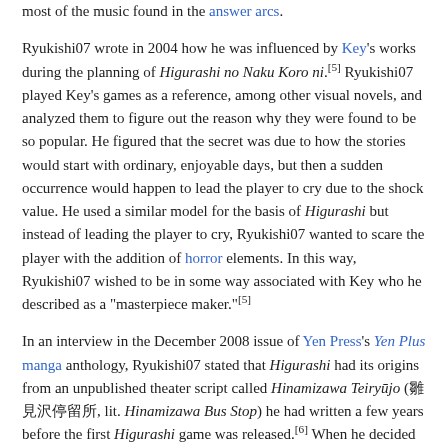most of the music found in the answer arcs.
Ryukishi07 wrote in 2004 how he was influenced by Key's works during the planning of Higurashi no Naku Koro ni.[5] Ryukishi07 played Key's games as a reference, among other visual novels, and analyzed them to figure out the reason why they were found to be so popular. He figured that the secret was due to how the stories would start with ordinary, enjoyable days, but then a sudden occurrence would happen to lead the player to cry due to the shock value. He used a similar model for the basis of Higurashi but instead of leading the player to cry, Ryukishi07 wanted to scare the player with the addition of horror elements. In this way, Ryukishi07 wished to be in some way associated with Key who he described as a "masterpiece maker."[5]
In an interview in the December 2008 issue of Yen Press's Yen Plus manga anthology, Ryukishi07 stated that Higurashi had its origins from an unpublished theater script called Hinamizawa Teiryūjo (雛見沢停留所, lit. Hinamizawa Bus Stop) he had written a few years before the first Higurashi game was released.[6] When he decided to rewrite the script and release it, he wanted to build upon "the contrast between a fun, ordinary life, and something terrifying and out of the